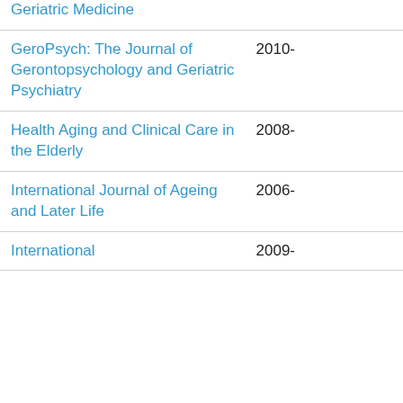| Journal | Year |
| --- | --- |
| Geriatric Medicine |  |
| GeroPsych: The Journal of Gerontopsychology and Geriatric Psychiatry | 2010- |
| Health Aging and Clinical Care in the Elderly | 2008- |
| International Journal of Ageing and Later Life | 2006- |
| International | 2009- |